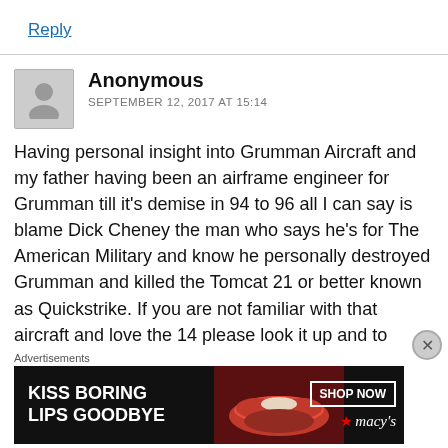Reply
Anonymous
SEPTEMBER 12, 2017 AT 15:14
Having personal insight into Grumman Aircraft and my father having been an airframe engineer for Grumman till it’s demise in 94 to 96 all I can say is blame Dick Cheney the man who says he’s for The American Military and know he personally destroyed Grumman and killed the Tomcat 21 or better known as Quickstrike. If you are not familiar with that aircraft and love the 14 please look it up and to
Advertisements
[Figure (photo): Macy's advertisement banner: KISS BORING LIPS GOODBYE with SHOP NOW button and macys logo, featuring a close-up of red lips]